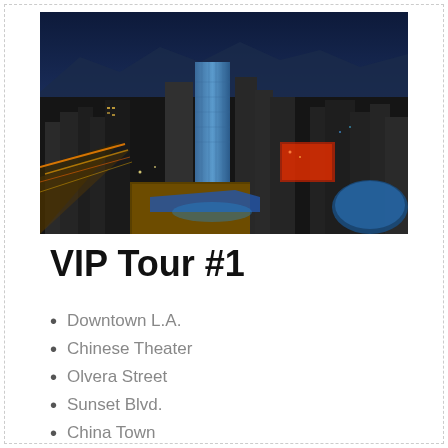[Figure (photo): Aerial night/dusk photo of downtown Los Angeles skyline showing skyscrapers, highways with light trails, and brightly lit commercial district]
VIP Tour #1
Downtown L.A.
Chinese Theater
Olvera Street
Sunset Blvd.
China Town
Beverly Hills
Hollywood Sign
Movie Star's Homes